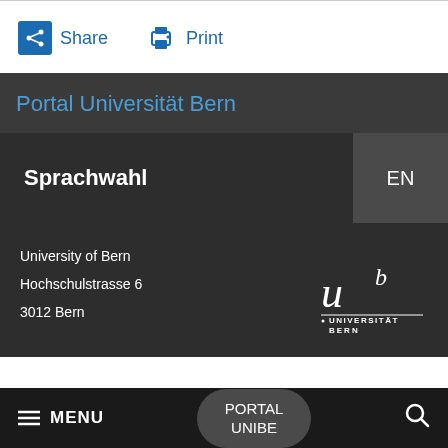Share   Print
Portal Universität Bern
Sprachwahl   EN
University of Bern
Hochschulstrasse 6
3012 Bern
[Figure (logo): University of Bern logo with stylized 'u b' script and UNIVERSITÄT BERN text]
≡ MENU   PORTAL UNIBE   🔍